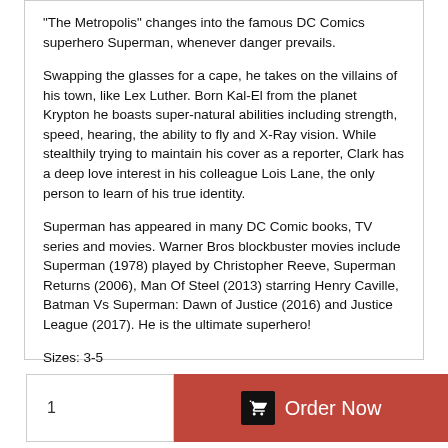"The Metropolis" changes into the famous DC Comics superhero Superman, whenever danger prevails.
Swapping the glasses for a cape, he takes on the villains of his town, like Lex Luther. Born Kal-El from the planet Krypton he boasts super-natural abilities including strength, speed, hearing, the ability to fly and X-Ray vision. While stealthily trying to maintain his cover as a reporter, Clark has a deep love interest in his colleague Lois Lane, the only person to learn of his true identity.
Superman has appeared in many DC Comic books, TV series and movies. Warner Bros blockbuster movies include Superman (1978) played by Christopher Reeve, Superman Returns (2006), Man Of Steel (2013) starring Henry Caville, Batman Vs Superman: Dawn of Justice (2016) and Justice League (2017). He is the ultimate superhero!
Sizes: 3-5